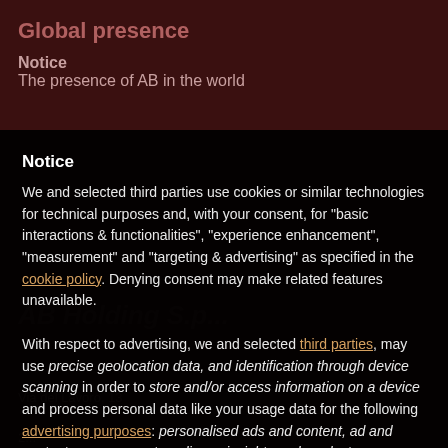Global presence
The presence of AB in the world
We and selected third parties use cookies or similar technologies for technical purposes and, with your consent, for “basic interactions & functionalities”, “experience enhancement”, “measurement” and “targeting & advertising” as specified in the cookie policy. Denying consent may make related features unavailable.
With respect to advertising, we and selected third parties, may use precise geolocation data, and identification through device scanning in order to store and/or access information on a device and process personal data like your usage data for the following advertising purposes: personalised ads and content, ad and content measurement, audience insights and product development.
[Figure (infographic): Social media icons: LinkedIn, Facebook, Instagram, YouTube, Twitter]
Reject
Accept
Learn more and customise
Corporate